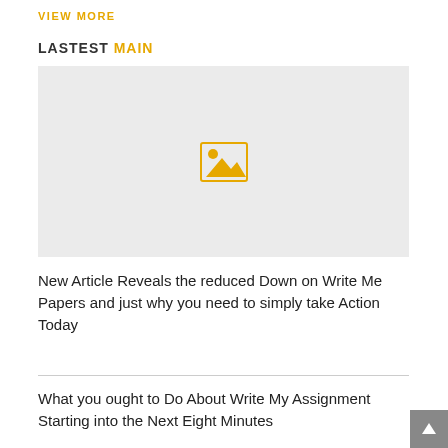VIEW MORE
LASTEST MAIN
[Figure (illustration): Image placeholder with a landscape/photo icon in gold/yellow on a light gray background]
New Article Reveals the reduced Down on Write Me Papers and just why you need to simply take Action Today
What you ought to Do About Write My Assignment Starting into the Next Eight Minutes